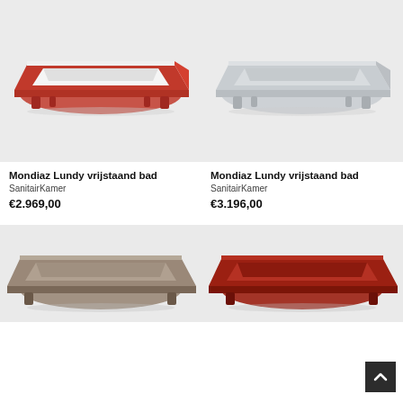[Figure (photo): Mondiaz Lundy freestanding bathtub with red exterior and white interior, on legs, 3D product render on light background]
[Figure (photo): Mondiaz Lundy freestanding bathtub in light grey/white color, on legs, 3D product render on light background]
Mondiaz Lundy vrijstaand bad
SanitairKamer
€2.969,00
Mondiaz Lundy vrijstaand bad
SanitairKamer
€3.196,00
[Figure (photo): Mondiaz Lundy freestanding bathtub in taupe/grey-brown color, 3D product render on light background, partially visible]
[Figure (photo): Mondiaz Lundy freestanding bathtub in dark red color, 3D product render on light background, partially visible]